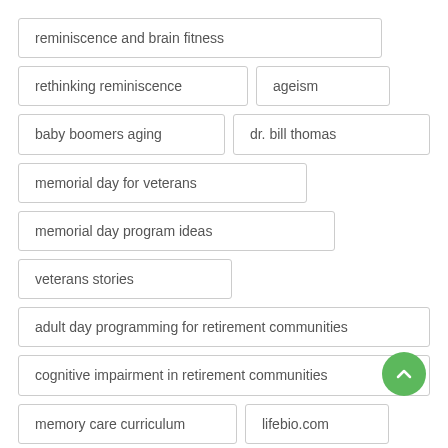reminiscence and brain fitness
rethinking reminiscence
ageism
baby boomers aging
dr. bill thomas
memorial day for veterans
memorial day program ideas
veterans stories
adult day programming for retirement communities
cognitive impairment in retirement communities
memory care curriculum
lifebio.com